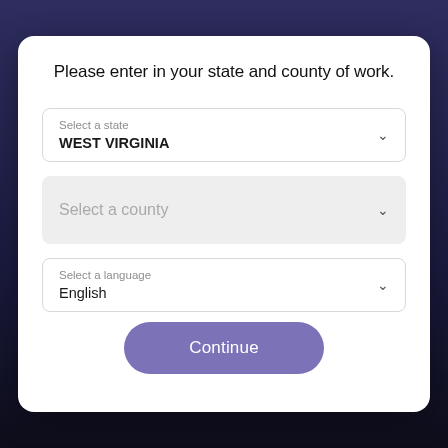Please enter in your state and county of work.
Select a state
WEST VIRGINIA
Select a county
Select a language
English
Continue